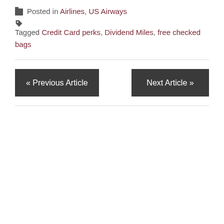Posted in Airlines, US Airways
Tagged Credit Card perks, Dividend Miles, free checked bags
« Previous Article
Next Article »